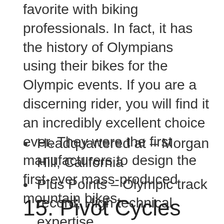favorite with biking professionals. In fact, it has the history of Olympians using their bikes for the Olympic events. If you are a discerning rider, you will find it an incredibly excellent choice ever. They were the first manufacturers to design the first-ever mass-produced mountain bikes.
Headquartered at – Morgan Hill, California
Plus Points – Olympic track record, High technical expertise.
15. Pivot Cycles